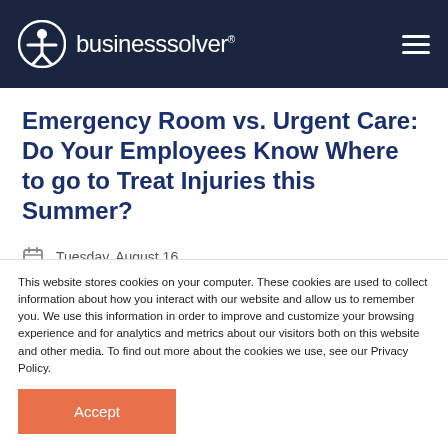businesssolver
Emergency Room vs. Urgent Care: Do Your Employees Know Where to go to Treat Injuries this Summer?
Tuesday, August 16
Sherri Bockhorst
This website stores cookies on your computer. These cookies are used to collect information about how you interact with our website and allow us to remember you. We use this information in order to improve and customize your browsing experience and for analytics and metrics about our visitors both on this website and other media. To find out more about the cookies we use, see our Privacy Policy.